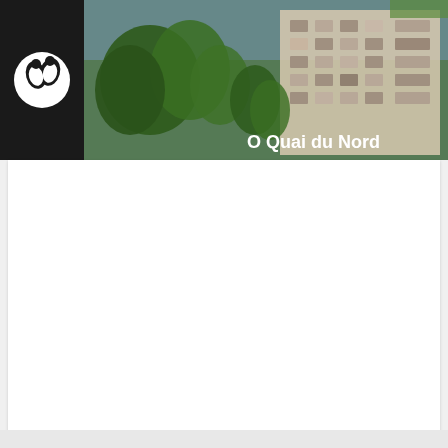[Figure (photo): Header banner showing a real estate development called 'O Quai du Nord'. Left side has a dark panel with a white circular logo (two figures/leaves icon). Right side shows a panoramic photo of a modern apartment building with balconies surrounded by green trees. White bold text 'O Quai du Nord' is overlaid on the right side of the image.]